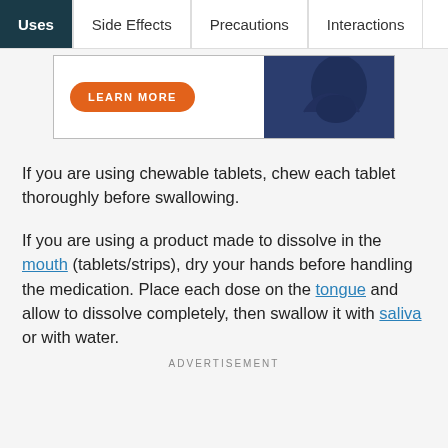Uses | Side Effects | Precautions | Interactions
[Figure (photo): Advertisement banner with orange 'LEARN MORE' button and a person in dark blazer on the right side]
If you are using chewable tablets, chew each tablet thoroughly before swallowing.
If you are using a product made to dissolve in the mouth (tablets/strips), dry your hands before handling the medication. Place each dose on the tongue and allow to dissolve completely, then swallow it with saliva or with water.
ADVERTISEMENT